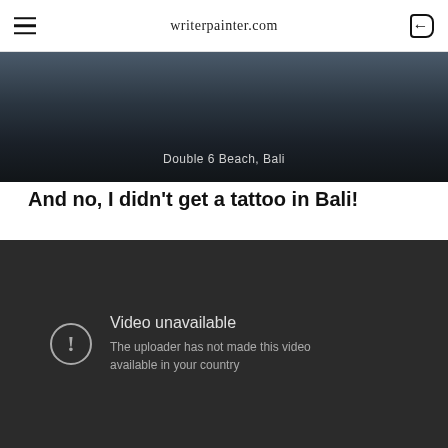writerpainter.com
[Figure (photo): Dark atmospheric beach scene showing Double 6 Beach, Bali with text overlay]
Double 6 Beach, Bali
And no, I didn't get a tattoo in Bali!
[Figure (screenshot): Video unavailable error screen: 'Video unavailable - The uploader has not made this video available in your country']